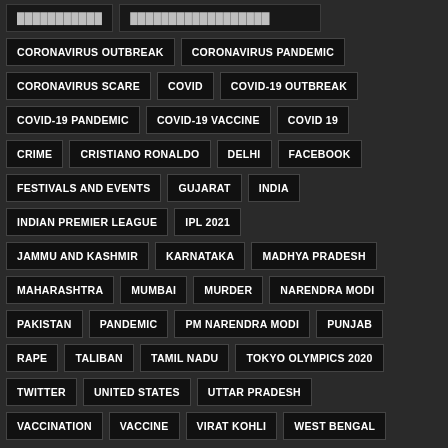CORONAVIRUS OUTBREAK
CORONAVIRUS PANDEMIC
CORONAVIRUS SCARE
COVID
COVID-19 OUTBREAK
COVID-19 PANDEMIC
COVID-19 VACCINE
COVID 19
CRIME
CRISTIANO RONALDO
DELHI
FACEBOOK
FESTIVALS AND EVENTS
GUJARAT
INDIA
INDIAN PREMIER LEAGUE
IPL 2021
JAMMU AND KASHMIR
KARNATAKA
MADHYA PRADESH
MAHARASHTRA
MUMBAI
MURDER
NARENDRA MODI
PAKISTAN
PANDEMIC
PM NARENDRA MODI
PUNJAB
RAPE
TALIBAN
TAMIL NADU
TOKYO OLYMPICS 2020
TWITTER
UNITED STATES
UTTAR PRADESH
VACCINATION
VACCINE
VIRAT KOHLI
WEST BENGAL